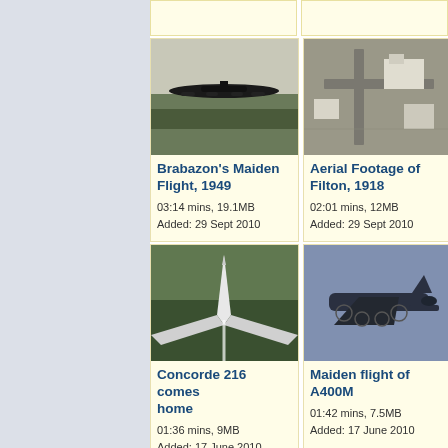[Figure (photo): Brabazon aircraft in black and white, low flight over trees]
Brabazon's Maiden Flight, 1949
03:14 mins, 19.1MB
Added: 29 Sept 2010
[Figure (photo): Aerial black and white footage of Filton airfield, 1918]
Aerial Footage of Filton, 1918
02:01 mins, 12MB
Added: 29 Sept 2010
[Figure (photo): Concorde 216 aerial view coming home, over green landscape]
Concorde 216 comes home
01:36 mins, 9MB
Added: 17 June 2010
[Figure (photo): A400M military transport aircraft maiden flight, blue sky background]
Maiden flight of A400M
01:42 mins, 7.5MB
Added: 17 June 2010